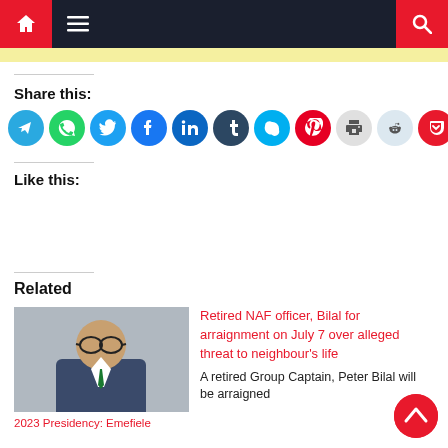Navigation bar with home, menu, and search icons
Share this:
[Figure (infographic): Row of social share icon buttons: Telegram, WhatsApp, Twitter, Facebook, LinkedIn, Tumblr, Skype, Pinterest, Print, Reddit, Pocket]
Like this:
Related
[Figure (photo): Photo of a man in suit with glasses]
2023 Presidency: Emefiele
Retired NAF officer, Bilal for arraignment on July 7 over alleged threat to neighbour's life
A retired Group Captain, Peter Bilal will be arraigned